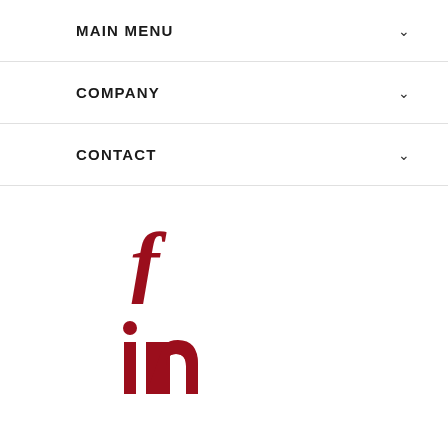MAIN MENU
COMPANY
CONTACT
[Figure (logo): Facebook social media icon - stylized lowercase 'f' in dark red/crimson color]
[Figure (logo): LinkedIn social media icon - stylized 'in' text with dot above 'i' in dark red/crimson color]